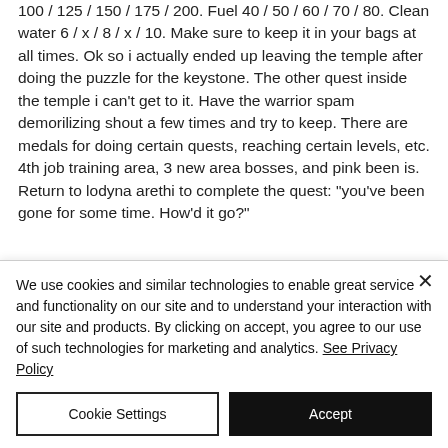100 / 125 / 150 / 175 / 200. Fuel 40 / 50 / 60 / 70 / 80. Clean water 6 / x / 8 / x / 10. Make sure to keep it in your bags at all times. Ok so i actually ended up leaving the temple after doing the puzzle for the keystone. The other quest inside the temple i can't get to it. Have the warrior spam demorilizing shout a few times and try to keep. There are medals for doing certain quests, reaching certain levels, etc. 4th job training area, 3 new area bosses, and pink been is. Return to lodyna arethi to complete the quest: &quot;you've been gone for some time. How'd it go?&quot;
We use cookies and similar technologies to enable great service and functionality on our site and to understand your interaction with our site and products. By clicking on accept, you agree to our use of such technologies for marketing and analytics. See Privacy Policy